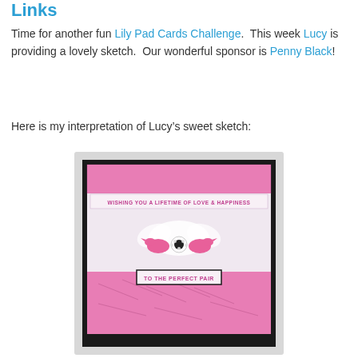Links
Time for another fun Lily Pad Cards Challenge.  This week Lucy is providing a lovely sketch.  Our wonderful sponsor is Penny Black!
Here is my interpretation of Lucy's sweet sketch:
[Figure (photo): A handmade greeting card with pink and black design featuring two pink doves, white tulle bow, rhinestone embellishment, and text reading 'WISHING YOU A LIFETIME OF LOVE & HAPPINESS' at top and 'TO THE PERFECT PAIR' at bottom, on pink patterned paper with bird motifs.]